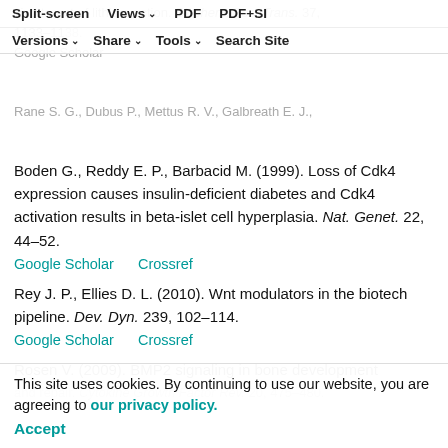vivo target of lithium action. Biochem. Soc. Trans. 37, 1133–11... Google Scholar
Rane S. G., Dubus P., Mettus R. V., Galbreath E. J.,
Boden G., Reddy E. P., Barbacid M. (1999). Loss of Cdk4 expression causes insulin-deficient diabetes and Cdk4 activation results in beta-islet cell hyperplasia. Nat. Genet. 22, 44–52.
Google Scholar   Crossref
Rey J. P., Ellies D. L. (2010). Wnt modulators in the biotech pipeline. Dev. Dyn. 239, 102–114.
Google Scholar   Crossref
Rosen V. (2009). BMP2 signaling in bone development and repair. Cytokine Growth Factor Rev. 20, 475–480.
Rullfson I. C., Karnik S. K., Heiser P. W., ten Berge D., Chen H., Gu X., Taketo M. M., Nusse R., Hebrok M., Kim
This site uses cookies. By continuing to use our website, you are agreeing to our privacy policy.
Accept